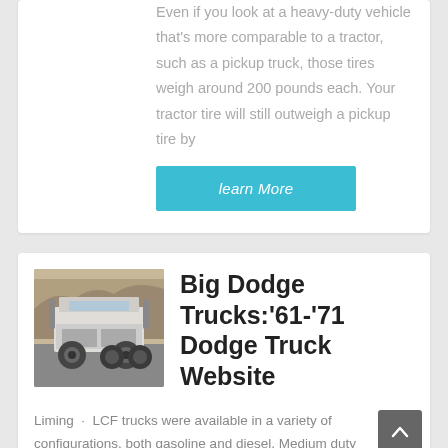Even if you look at a heavy-duty vehicle that's more comparable to a tractor, such as a pickup truck, those tires weigh around 200 pounds each. Your tractor tire will still outweigh a pickup tire by
learn More
[Figure (photo): Rear view of a large commercial truck cab (tractor unit) parked outdoors with rocky hill in background]
Big Dodge Trucks:'61-'71 Dodge Truck Website
Liming · LCF trucks were available in a variety of configurations, both gasoline and diesel. Medium duty